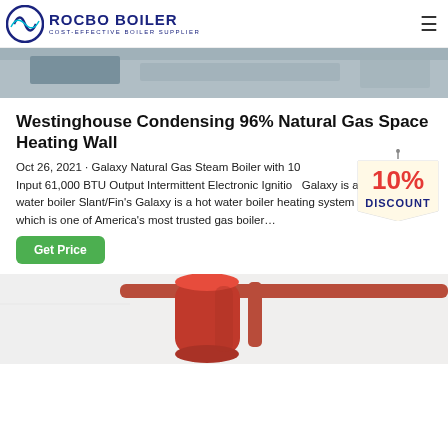ROCBO BOILER COST-EFFECTIVE BOILER SUPPLIER
[Figure (photo): Top partial image showing industrial/boiler equipment surface]
Westinghouse Condensing 96% Natural Gas Space Heating Wall
Oct 26, 2021 · Galaxy Natural Gas Steam Boiler with 10... Input 61,000 BTU Output Intermittent Electronic Ignition... Galaxy is a hot water boiler Slant/Fin's Galaxy is a hot water boiler heating system which is one of America's most trusted gas boiler…
[Figure (illustration): 10% DISCOUNT badge overlay]
Get Price
[Figure (photo): Bottom image showing red cylindrical boiler tank with copper pipes in an industrial setting]